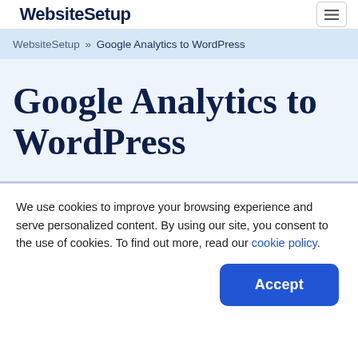WebsiteSetup
WebsiteSetup » Google Analytics to WordPress
Google Analytics to WordPress
We use cookies to improve your browsing experience and serve personalized content. By using our site, you consent to the use of cookies. To find out more, read our cookie policy.